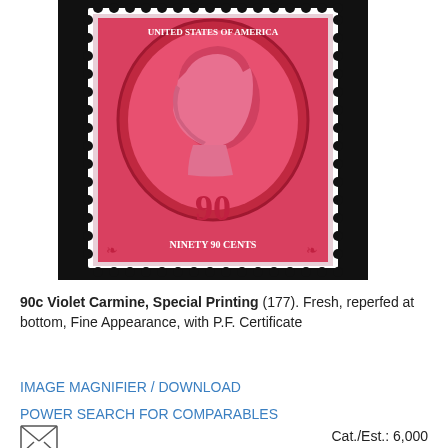[Figure (photo): A 90-cent United States postage stamp in violet carmine color showing a profile portrait of a man, with 'NINETY CENTS' text and ornate border design, perforated edges, on dark background.]
90c Violet Carmine, Special Printing (177). Fresh, reperfed at bottom, Fine Appearance, with P.F. Certificate
IMAGE MAGNIFIER / DOWNLOAD
POWER SEARCH FOR COMPARABLES
[Figure (illustration): Small envelope icon (mail symbol)]
Cat./Est.: 6,000